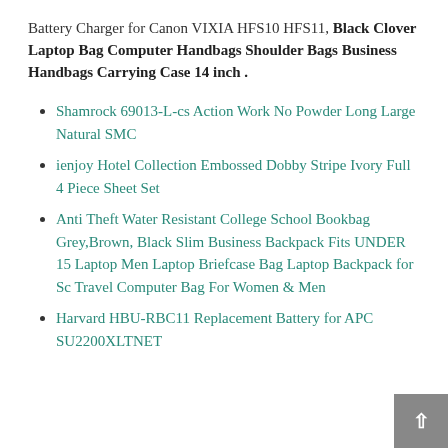Battery Charger for Canon VIXIA HFS10 HFS11, Black Clover Laptop Bag Computer Handbags Shoulder Bags Business Handbags Carrying Case 14 inch .
Shamrock 69013-L-cs Action Work No Powder Long Large Natural SMC
ienjoy Hotel Collection Embossed Dobby Stripe Ivory Full 4 Piece Sheet Set
Anti Theft Water Resistant College School Bookbag Grey,Brown, Black Slim Business Backpack Fits UNDER 15 Laptop Men Laptop Briefcase Bag Laptop Backpack for Sc Travel Computer Bag For Women & Men
Harvard HBU-RBC11 Replacement Battery for APC SU2200XLTNET